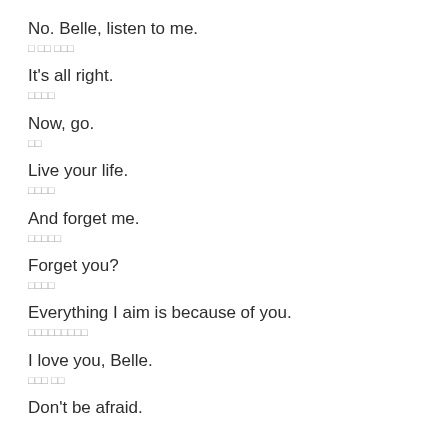No. Belle, listen to me.
□ □□ □□□
It's all right.
□□□□
Now, go.
□□
Live your life.
□□□□
And forget me.
□□□□□
Forget you?
□□□□
Everything I aim is because of you.
□□□□□□□□□
I love you, Belle.
□□□ □□
Don't be afraid.